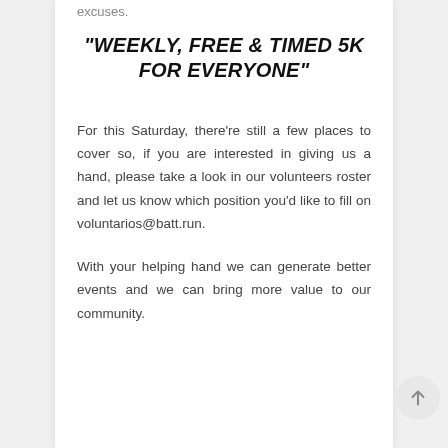excuses.
"WEEKLY, FREE & TIMED 5K FOR EVERYONE"
For this Saturday, there're still a few places to cover so, if you are interested in giving us a hand, please take a look in our volunteers roster and let us know which position you'd like to fill on voluntarios@batt.run.
With your helping hand we can generate better events and we can bring more value to our community.